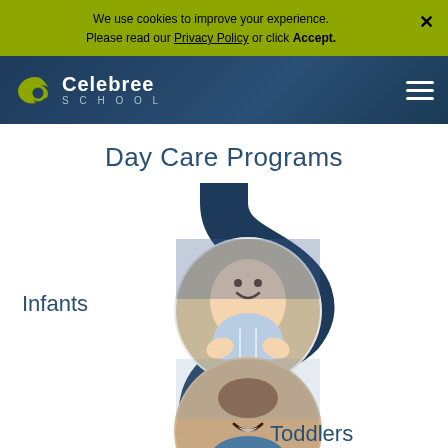We use cookies to improve your experience. Please read our Privacy Policy or click Accept.
[Figure (logo): Celebree School logo with stylized leaf icon in green/yellow, white text on dark blue navigation bar]
Day Care Programs
[Figure (illustration): S-curve dark navy ribbon graphic connecting circular photo frames. Upper circle shows infant baby smiling labeled 'Infants'. Lower circle shows toddler child labeled 'Toddlers'.]
Infants
Toddlers